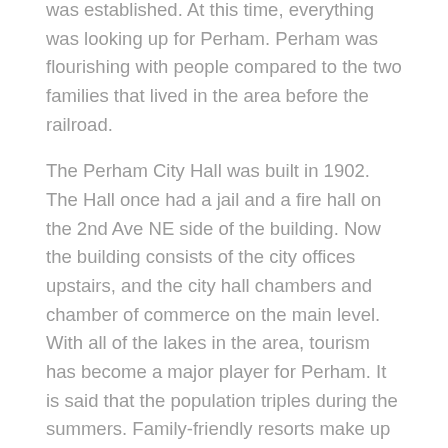was established. At this time, everything was looking up for Perham. Perham was flourishing with people compared to the two families that lived in the area before the railroad.
The Perham City Hall was built in 1902. The Hall once had a jail and a fire hall on the 2nd Ave NE side of the building. Now the building consists of the city offices upstairs, and the city hall chambers and chamber of commerce on the main level. With all of the lakes in the area, tourism has become a major player for Perham. It is said that the population triples during the summers. Family-friendly resorts make up much of the accommodations for the visitors. Sunset Beach on Big Pine is one of the oldest resorts around the area. Perham is known for the International Turtle Races, which take place every Wednesday throughout the summer.